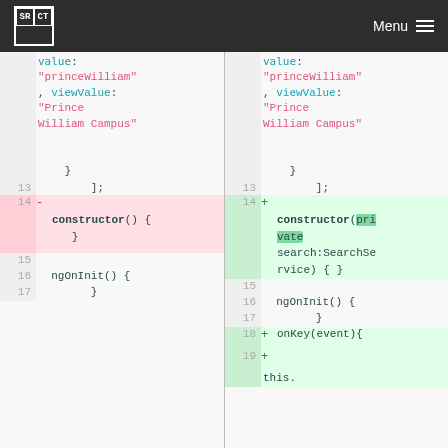SRCT Menu
[Figure (screenshot): Code diff view showing two columns. Left side (old) and right side (new) of a TypeScript/Angular component. Lines show removal of empty constructor() and addition of constructor(private search:SearchService), plus addition of onKey(event) method.]